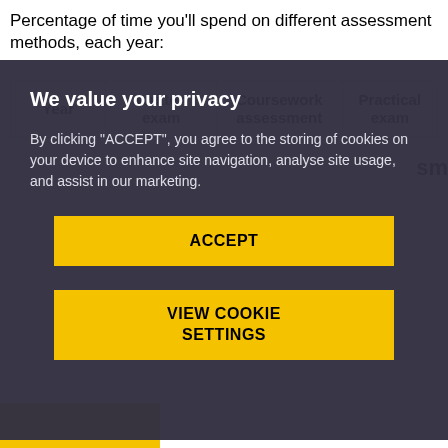Percentage of time you'll spend on different assessment methods, each year:
| Year | Written exam | Coursework assessment | Practical exam | sm |
| --- | --- | --- | --- | --- |
[Figure (screenshot): Cookie consent modal overlay with dark background. Title: 'We value your privacy'. Body text about cookies. Two yellow buttons: 'ACCEPT' and 'VIEW COOKIE SETTINGS'.]
We value your privacy
By clicking "ACCEPT", you agree to the storing of cookies on your device to enhance site navigation, analyse site usage, and assist in our marketing.